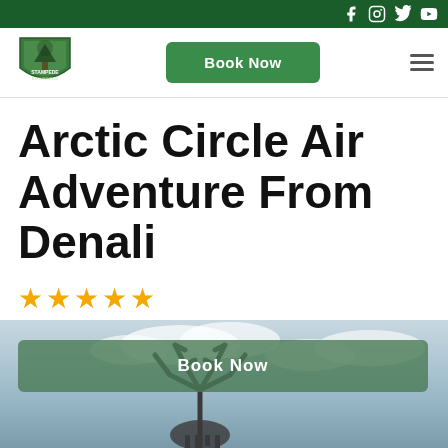Social media icons: Facebook, Instagram, Twitter, YouTube
[Figure (logo): Stampede Excursions shield-shaped green logo with mountain and tree imagery]
Book Now
Arctic Circle Air Adventure From Denali
★★★★★
[Figure (photo): Moose antlers silhouette against a cloudy sky background]
Book Now